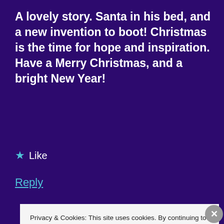A lovely story. Santa in his bed, and a new invention to boot! Christmas is the time for hope and inspiration.
Have a Merry Christmas, and a bright New Year!
★ Like
Reply
Bernadette Braganza
Privacy & Cookies: This site uses cookies. By continuing to use this website, you agree to their use.
To find out more, including how to control cookies, see here: Cookie Policy
Close and accept